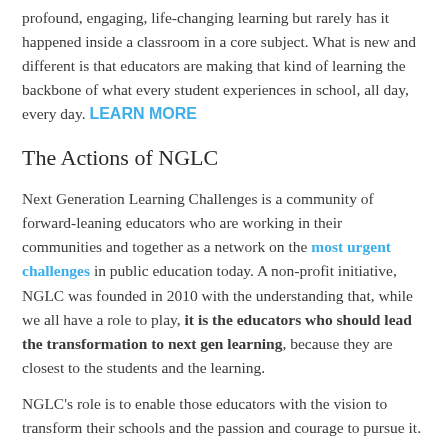profound, engaging, life-changing learning but rarely has it happened inside a classroom in a core subject. What is new and different is that educators are making that kind of learning the backbone of what every student experiences in school, all day, every day. LEARN MORE
The Actions of NGLC
Next Generation Learning Challenges is a community of forward-leaning educators who are working in their communities and together as a network on the most urgent challenges in public education today. A non-profit initiative, NGLC was founded in 2010 with the understanding that, while we all have a role to play, it is the educators who should lead the transformation to next gen learning, because they are closest to the students and the learning.
NGLC's role is to enable those educators with the vision to transform their schools and the passion and courage to pursue it.